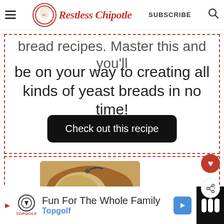Restless Chipotle | SUBSCRIBE
bread recipes. Master this and you'll be on your way to creating all kinds of yeast breads in no time!
Check out this recipe
[Figure (photo): Sliced loaf of homemade yeast bread on a wooden surface]
WHAT'S NEXT → No Fail Amish White Bread
Fun For The Whole Family Topgolf